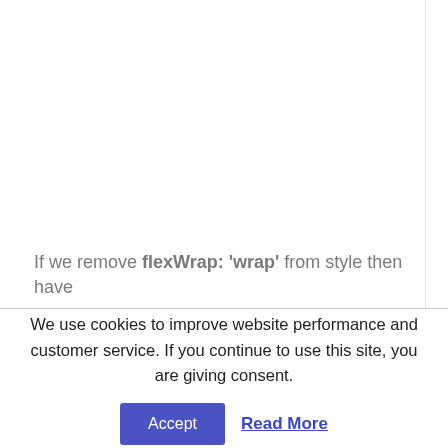If we remove flexWrap: 'wrap' from style then have
We use cookies to improve website performance and customer service. If you continue to use this site, you are giving consent.